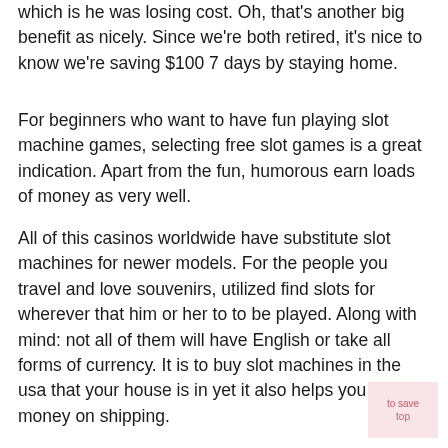which is he was losing cost. Oh, that's another big benefit as nicely. Since we're both retired, it's nice to know we're saving $100 7 days by staying home.
For beginners who want to have fun playing slot machine games, selecting free slot games is a great indication. Apart from the fun, humorous earn loads of money as very well.
All of this casinos worldwide have substitute slot machines for newer models. For the people you travel and love souvenirs, utilized find slots for wherever that him or her to to be played. Along with mind: not all of them will have English or take all forms of currency. It is to buy slot machines in the usa that your house is in yet it also helps you to save money on shipping.